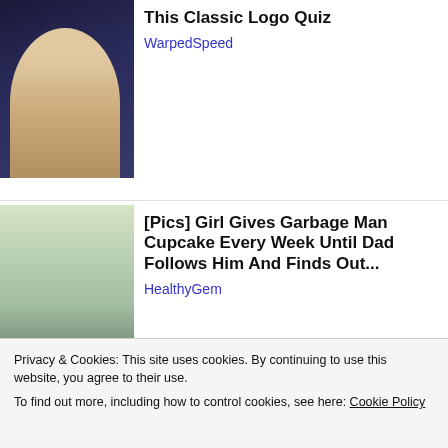[Figure (photo): Thumbnail image of a person dressed as George Washington in colonial-era clothing with white wig and hat]
This Classic Logo Quiz
WarpedSpeed
[Figure (photo): Thumbnail photo of a man and a young girl with a pink bow, smiling outdoors]
[Pics] Girl Gives Garbage Man Cupcake Every Week Until Dad Follows Him And Finds Out...
HealthyGem
[Figure (photo): Wide banner photo of people at what appears to be a formal event or racetrack]
Privacy & Cookies: This site uses cookies. By continuing to use this website, you agree to their use.
To find out more, including how to control cookies, see here: Cookie Policy
Close and accept
[Photos] Meet The Wives Of The Richest